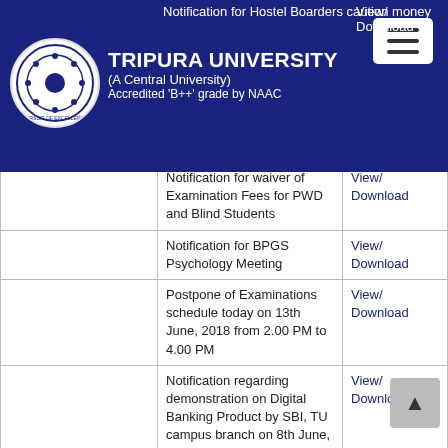TRIPURA UNIVERSITY (A Central University) Accredited 'B++' grade by NAAC
|  | Notification | Link |
| --- | --- | --- |
|  | Notification for Hostel Boarders caution money | View/Download |
|  | Notification for waiver of Examination Fees for PWD and Blind Students | View/Download |
|  | Notification for BPGS Psychology Meeting | View/Download |
|  | Postpone of Examinations schedule today on 13th June, 2018 from 2.00 PM to 4.00 PM | View/Download |
|  | Notification regarding demonstration on Digital Banking Product by SBI, TU campus branch on 8th June, 2018 | View/Download |
|  | World Environment Day and Vanamahotsav on 5th June, 2018 | View/Download |
|  | Provisional MCQ answer key of 6th sem-18 | View/Download |
|  | Provisional List of Ph.D. | View/ |